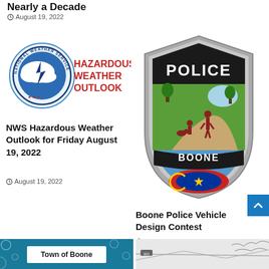Nearly a Decade
August 19, 2022
[Figure (logo): National Weather Service logo with HAZARDOUS WEATHER OUTLOOK text in red]
NWS Hazardous Weather Outlook for Friday August 19, 2022
August 19, 2022
[Figure (illustration): Boone Police badge/shield with POLICE text at top and BOONE banner, featuring a park scene with figures and North Carolina flag emblem]
Boone Police Vehicle Design Contest
August 18, 2022
[Figure (illustration): Town of Boone logo on teal/blue background with bubbles]
[Figure (map): Road map showing routes and terrain lines]